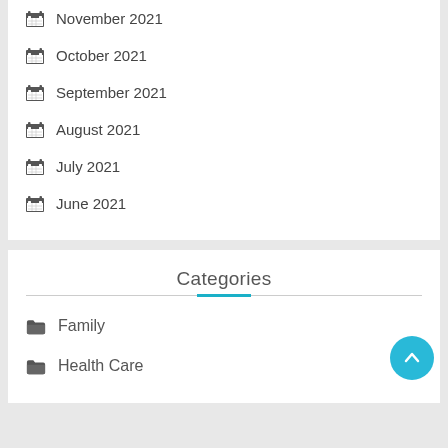November 2021
October 2021
September 2021
August 2021
July 2021
June 2021
Categories
Family
Health Care